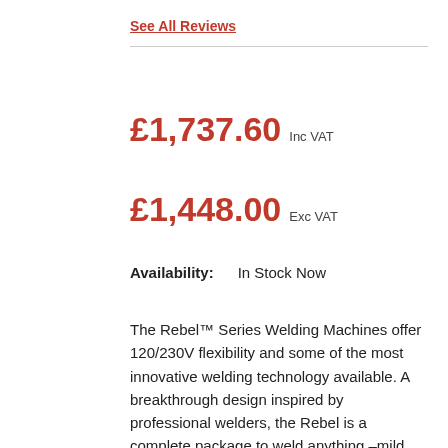See All Reviews
£1,737.60 Inc VAT
£1,448.00 Exc VAT
Availability: In Stock Now
The Rebel™ Series Welding Machines offer 120/230V flexibility and some of the most innovative welding technology available. A breakthrough design inspired by professional welders, the Rebel is a complete package to weld anything –mild steel, MIG aluminium, stainless steel –and go anywhere.